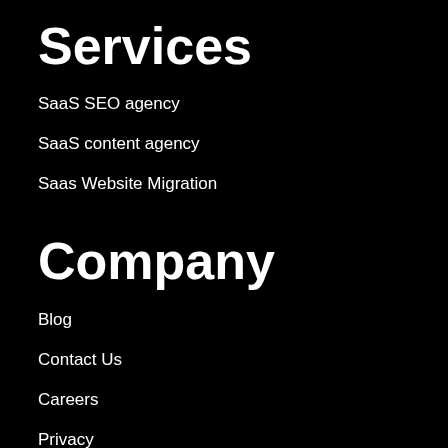Services
SaaS SEO agency
SaaS content agency
Saas Website Migration
Company
Blog
Contact Us
Careers
Privacy
Resources
Sitemap